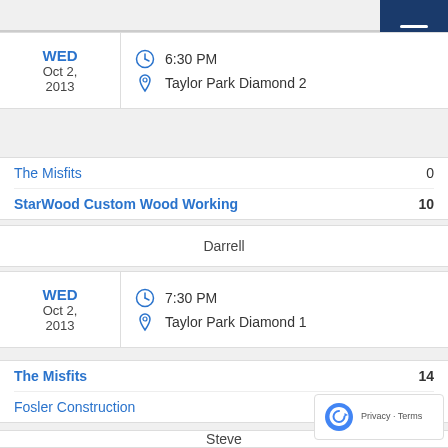WED Oct 2, 2013 | 6:30 PM | Taylor Park Diamond 2
| Team | Score |
| --- | --- |
| The Misfits | 0 |
| StarWood Custom Wood Working | 10 |
Darrell
WED Oct 2, 2013 | 7:30 PM | Taylor Park Diamond 1
| Team | Score |
| --- | --- |
| The Misfits | 14 |
| Fosler Construction | 3 |
Steve
WED Oct 2, 2013 | 7:30 PM | Taylor Park Diamond 2